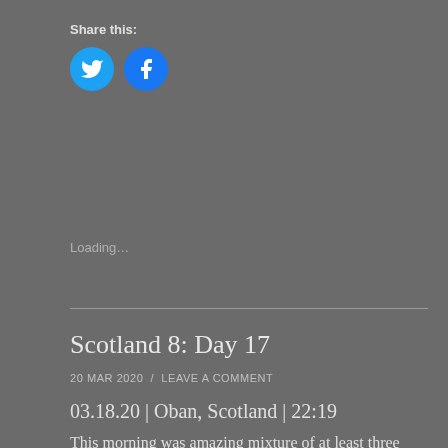Share this:
[Figure (illustration): Two circular social media buttons: Twitter (cyan/blue bird icon) and Facebook (blue 'f' icon)]
Loading…
Scotland 8: Day 17
20 MAR 2020  /  LEAVE A COMMENT
03.18.20 | Oban, Scotland | 22:19
This morning was amazing mixture of at least three seasons. I woke up to rain, then the sun came out for a few moments, and then we actually had some